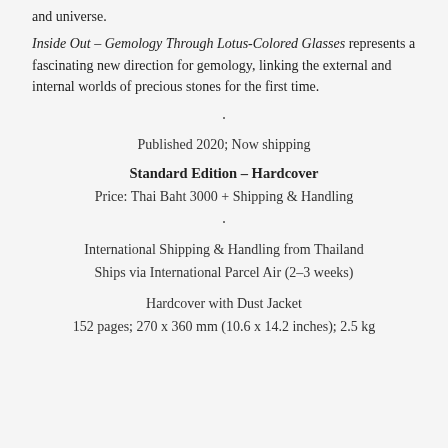and universe.
Inside Out – Gemology Through Lotus-Colored Glasses represents a fascinating new direction for gemology, linking the external and internal worlds of precious stones for the first time.
·
Published 2020; Now shipping
Standard Edition – Hardcover
Price: Thai Baht 3000 + Shipping & Handling
·
International Shipping & Handling from Thailand
Ships via International Parcel Air (2–3 weeks)
Hardcover with Dust Jacket
152 pages; 270 x 360 mm (10.6 x 14.2 inches); 2.5 kg